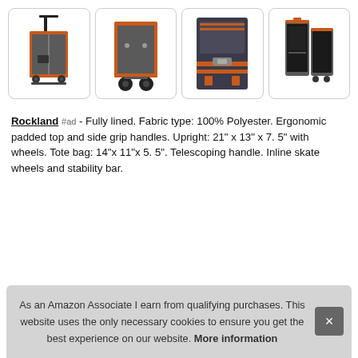[Figure (photo): Four product photos of a Rockland gray and orange luggage set: full upright view with telescoping handle, bottom/wheel view, interior/zipper view, open case view]
Rockland #ad - Fully lined. Fabric type: 100% Polyester. Ergonomic padded top and side grip handles. Upright: 21" x 13" x 7. 5" with wheels. Tote bag: 14"x 11"x 5. 5". Telescoping handle. Inline skate wheels and stability bar.
As an Amazon Associate I earn from qualifying purchases. This website uses the only necessary cookies to ensure you get the best experience on our website. More information